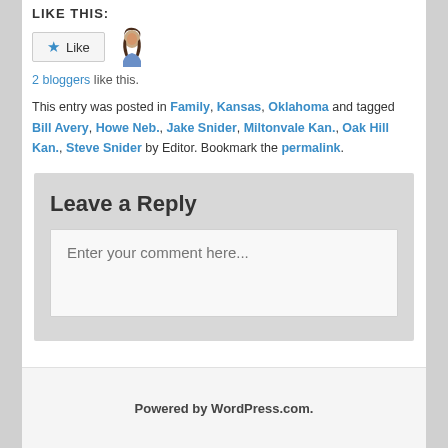LIKE THIS:
[Figure (other): Like button widget with star icon and user avatar photo]
2 bloggers like this.
This entry was posted in Family, Kansas, Oklahoma and tagged Bill Avery, Howe Neb., Jake Snider, Miltonvale Kan., Oak Hill Kan., Steve Snider by Editor. Bookmark the permalink.
Leave a Reply
Enter your comment here...
Powered by WordPress.com.